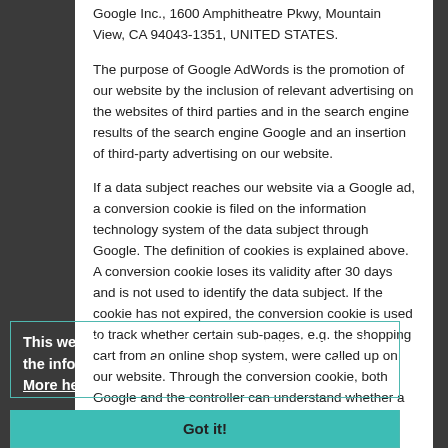Google Inc., 1600 Amphitheatre Pkwy, Mountain View, CA 94043-1351, UNITED STATES.
The purpose of Google AdWords is the promotion of our website by the inclusion of relevant advertising on the websites of third parties and in the search engine results of the search engine Google and an insertion of third-party advertising on our website.
If a data subject reaches our website via a Google ad, a conversion cookie is filed on the information technology system of the data subject through Google. The definition of cookies is explained above. A conversion cookie loses its validity after 30 days and is not used to identify the data subject. If the cookie has not expired, the conversion cookie is used to track whether certain sub-pages, e.g. the shopping cart from an online shop system, were called up on our website. Through the conversion cookie, both Google and the controller can understand whether a person who reached an
This website uses cookies for the management of the information and to provide best functionality. More here
Got it!